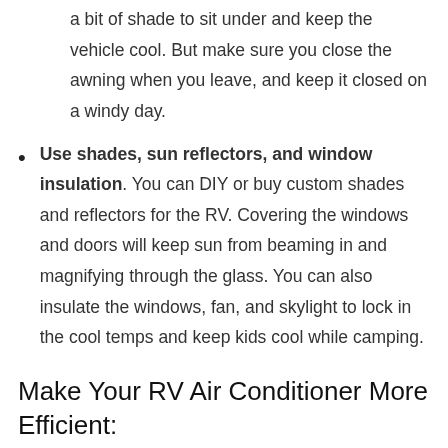a bit of shade to sit under and keep the vehicle cool. But make sure you close the awning when you leave, and keep it closed on a windy day.
Use shades, sun reflectors, and window insulation. You can DIY or buy custom shades and reflectors for the RV. Covering the windows and doors will keep sun from beaming in and magnifying through the glass. You can also insulate the windows, fan, and skylight to lock in the cool temps and keep kids cool while camping.
Make Your RV Air Conditioner More Efficient: